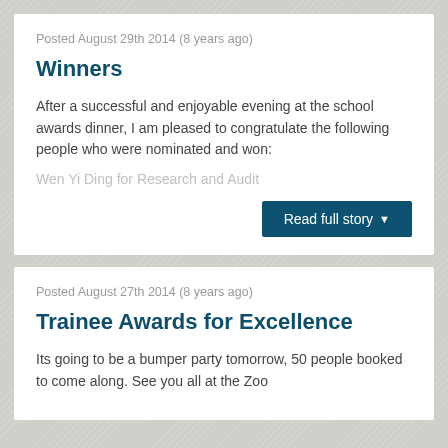Posted August 29th 2014 (8 years ago)
Winners
After a successful and enjoyable evening at the school awards dinner, I am pleased to congratulate the following people who were nominated and won:
Wen Yi Ding for Research and Audit
Read full story
Posted August 27th 2014 (8 years ago)
Trainee Awards for Excellence
Its going to be a bumper party tomorrow, 50 people booked to come along. See you all at the Zoo